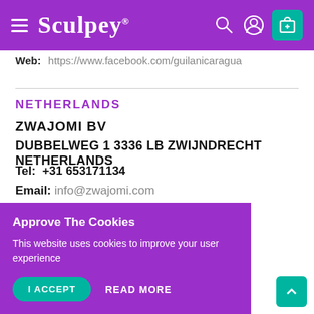Sculpey® [navigation header with hamburger menu, search, account, cart icons]
Web: https://www.facebook.com/guilanicaragua
NETHERLANDS
ZWAJOMI BV
DUBBELWEG 1 3336 LB ZWIJNDRECHT NETHERLANDS
Tel: +31 653171134
Email: info@zwajomi.com
Web: https://zwajomi.com
Approve The Cookies
This website uses cookies to improve your user experience
I ACCEPT   READ MORE